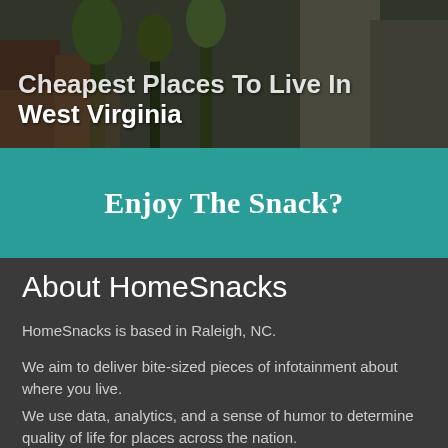[Figure (photo): Photograph of a street scene with trees and buildings, partially visible, serving as a header image for an article about cheapest places to live in West Virginia]
Cheapest Places To Live In West Virginia
Enjoy The Snack?
About HomeSnacks
HomeSnacks is based in Raleigh, NC.
We aim to deliver bite-sized pieces of infotainment about where you live.
We use data, analytics, and a sense of humor to determine quality of life for places across the nation.